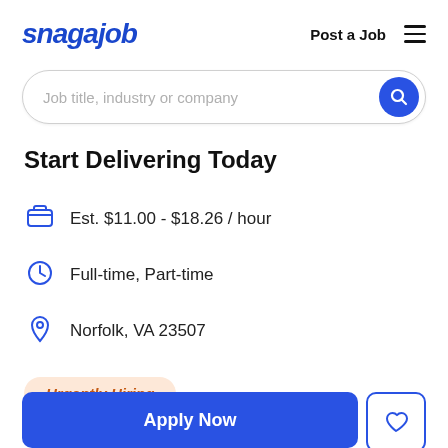snagajob   Post a Job  ☰
[Figure (screenshot): Search bar with placeholder text 'Job title, industry or company' and a blue circular search button]
Start Delivering Today
Est. $11.00 - $18.26 / hour
Full-time, Part-time
Norfolk, VA 23507
Urgently Hiring
Apply Now